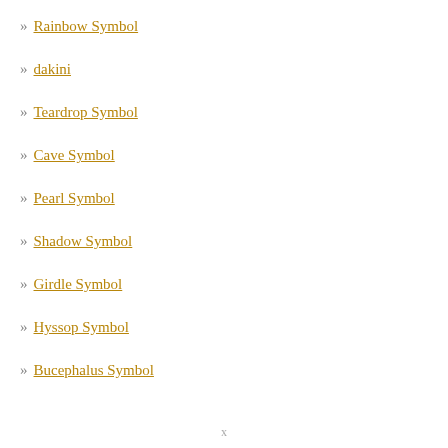» Rainbow Symbol
» dakini
» Teardrop Symbol
» Cave Symbol
» Pearl Symbol
» Shadow Symbol
» Girdle Symbol
» Hyssop Symbol
» Bucephalus Symbol
x